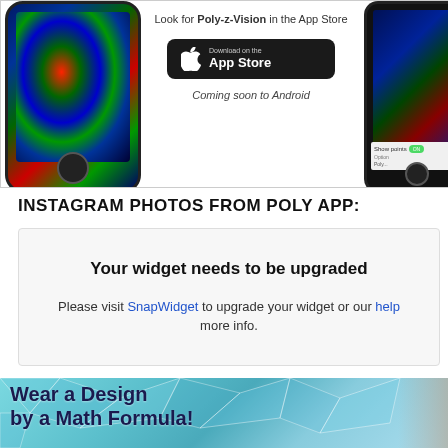[Figure (screenshot): App Store promotion showing Poly-z-Vision app on smartphones with 'Look for Poly-z-Vision in the App Store', a Download on the App Store button, and 'Coming soon to Android' text]
INSTAGRAM PHOTOS FROM POLY APP:
[Figure (screenshot): Widget upgrade notice box with text: 'Your widget needs to be upgraded' and 'Please visit SnapWidget to upgrade your widget or our help for more info.']
[Figure (photo): Bottom banner image with geometric polygon background in teal/blue and text 'Wear a Design by a Math Formula!' with a person partially visible on the right]